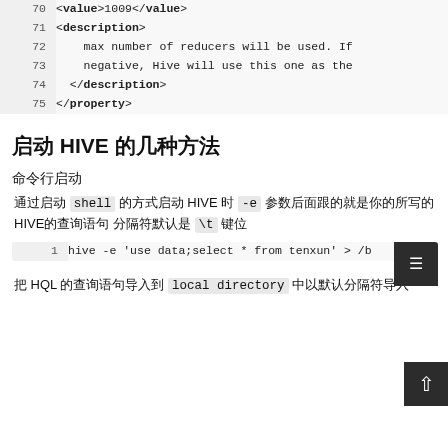[Figure (screenshot): Code block showing XML lines 70-75 with <value>1009</value>, <description>, max number of reducers will be used. If negative, Hive will use this one as the, </description>, </property>]
启动 HIVE 的几种方法
命令行启动
通过启动 shell 的方式启动 HIVE 时 -e 参数后面跟的就是你的所写的 HIVE的查询语句 分隔符默认是 \t 键位
[Figure (screenshot): Code block line 1: hive -e 'use data;select * from tenxun' > /b]
把 HQL 的查询语句导入到 local directory 中以默认分隔符导入